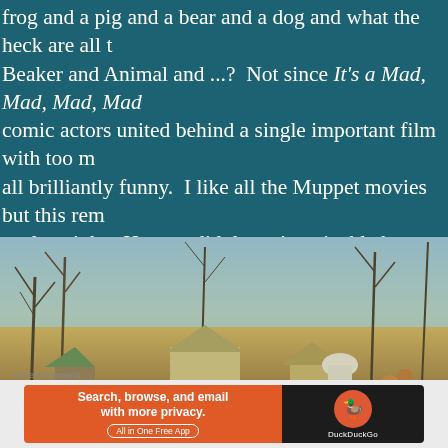frog and a pig and a bear and a dog and what the heck are all t Beaker and Animal and ...?  Not since It's a Mad, Mad, Mad, Mad comic actors united behind a single important film with too m all brilliantly funny.  I like all the Muppet movies but this rem analyze it but Henson did the unimaginable by making fabric c human in any film and without the realism required by all othe believe characters.  Instead it just has a lot of honesty and hea beloved by audiences for generations to come.
[Figure (photo): A fantasy or fairy-tale miniature scene with small buildings, bare winter trees, and colorful decorative plants or flowers, photographed from a low angle against a cloudy sky.]
Advertisements
[Figure (screenshot): DuckDuckGo advertisement banner: orange left panel with text 'Search, browse, and email with more privacy. All in One Free App' and dark right panel with DuckDuckGo logo and brand name.]